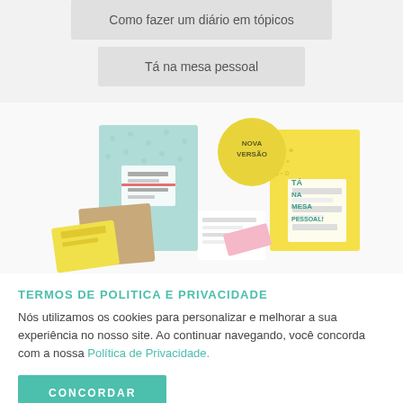Como fazer um diário em tópicos
Tá na mesa pessoal
[Figure (photo): Product photo showing two notebook/diary products: a light blue polka-dot notebook on the left and a yellow notebook on the right with 'Nova Versão' sticker, plus accompanying accessories.]
TERMOS DE POLITICA E PRIVACIDADE
Nós utilizamos os cookies para personalizar e melhorar a sua experiência no nosso site. Ao continuar navegando, você concorda com a nossa Política de Privacidade.
CONCORDAR